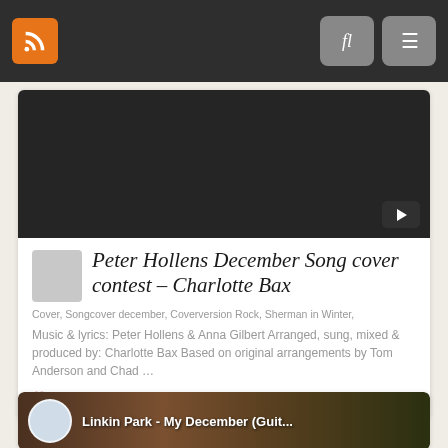Navigation bar with RSS icon, search and menu buttons
[Figure (screenshot): Dark video thumbnail with play button]
Peter Hollens December Song cover contest – Charlotte Bax
Cover, Songcover december, Coverversion Rock, Sherman in Winter,
Music & lyrics: Peter Hollens & Anna Gilbert Arranged, sung, mixed & produced by: Charlotte Bax Based on original arrangements by Tom Anderson and Chad …
0
[Figure (screenshot): Linkin Park - My December (Guit... video thumbnail showing musician and album art]